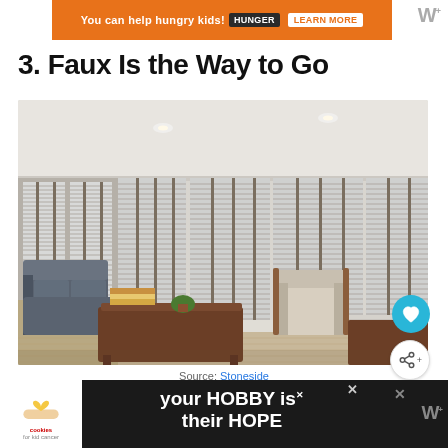[Figure (other): Top advertisement banner with orange background reading 'You can help hungry kids!' with Hunger and Learn buttons, and website logo top right]
3. Faux Is the Way to Go
[Figure (photo): Interior living room with large windows covered in faux wood blinds/shutters. Room has a sectional grey sofa, wood coffee table with books and a plant, armchair, and light hardwood floor. Bright natural light filters through the blinds.]
Source: Stoneside
[Figure (other): Bottom advertisement banner with dark background showing cookies for kid cancer charity and 'your HOBBY is their HOPE' text in white]